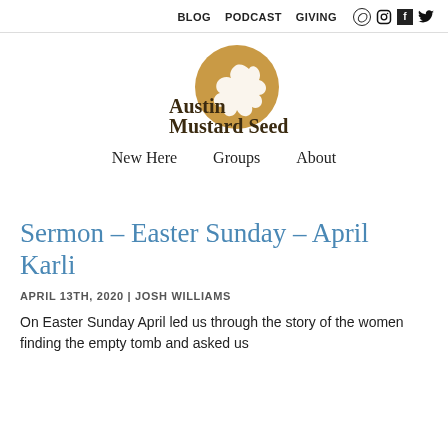BLOG   PODCAST   GIVING
[Figure (logo): Austin Mustard Seed logo: golden circle with white dove silhouette, text 'Austin Mustard Seed' in dark brown serif font]
New Here   Groups   About
Sermon – Easter Sunday – April Karli
APRIL 13TH, 2020 | JOSH WILLIAMS
On Easter Sunday April led us through the story of the women finding the empty tomb and asked us